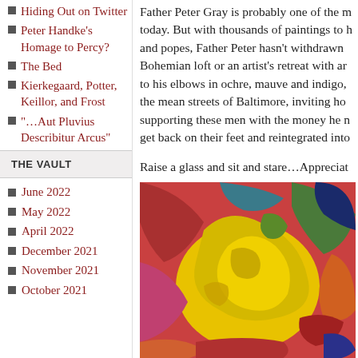Hiding Out on Twitter
Peter Handke's Homage to Percy?
The Bed
Kierkegaard, Potter, Keillor, and Frost
“…Aut Pluvius Describitur Arcus”
THE VAULT
June 2022
May 2022
April 2022
December 2021
November 2021
October 2021
Father Peter Gray is probably one of the most reclusive painters today. But with thousands of paintings to his name, of saints and popes, Father Peter hasn’t withdrawn to a Bohemian loft or an artist’s retreat with an ample view, up to his elbows in ochre, mauve and indigo, …he’s out on the mean streets of Baltimore, inviting homeless men in, supporting these men with the money he makes from art to get back on their feet and reintegrated into…
Raise a glass and sit and stare…Appreciat…
[Figure (photo): A colorful abstract painting featuring vivid yellows, reds, oranges, pinks, greens, and blues in organic flowing shapes.]